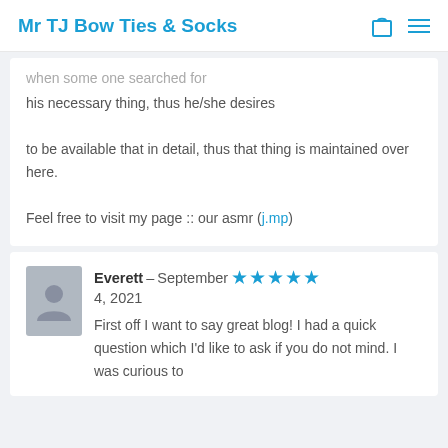Mr TJ Bow Ties & Socks
when some one searched for his necessary thing, thus he/she desires to be available that in detail, thus that thing is maintained over here.

Feel free to visit my page :: our asmr (j.mp)
Everett – September 4, 2021 ★★★★★

First off I want to say great blog! I had a quick question which I'd like to ask if you do not mind. I was curious to